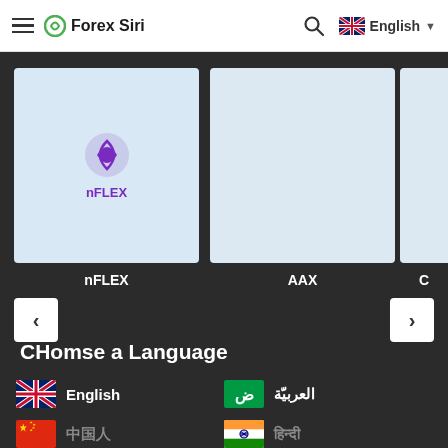Forex Siri — navigation bar with hamburger menu, logo, search, English language selector
[Figure (screenshot): Broker cards carousel showing nFLEX (with purple logo), AAX, and a partially visible third broker on a dark background]
nFLEX
AAX
C
CHomse a Language
English
العربيّة
中国人
हिन्दी